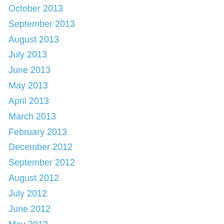October 2013
September 2013
August 2013
July 2013
June 2013
May 2013
April 2013
March 2013
February 2013
December 2012
September 2012
August 2012
July 2012
June 2012
May 2012
April 2012
March 2012
February 2012
January 2012
December 2011